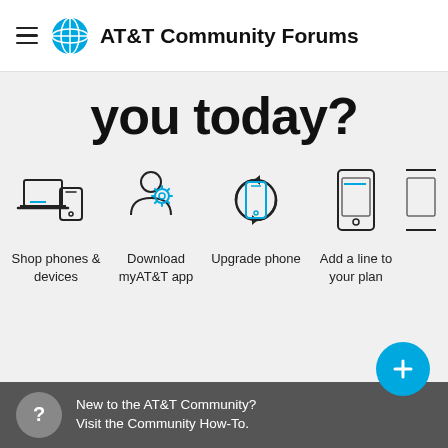AT&T Community Forums
you today?
[Figure (infographic): Four service option icons in a row: Shop phones & devices (laptop and phone icon), Download myAT&T app (person with gear icon), Upgrade phone (phone with circular arrows icon), Add a line to your plan (phone icon). A fifth icon is partially visible at right edge.]
New to the AT&T Community? Visit the Community How-To.